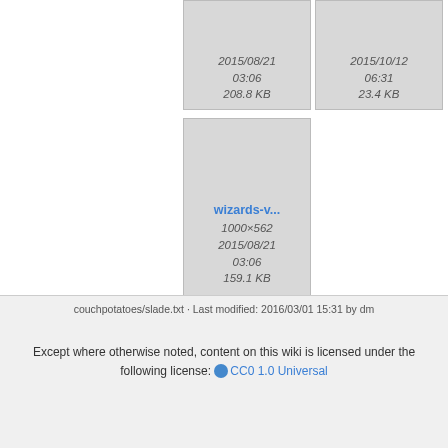[Figure (screenshot): File browser thumbnail grid showing image files with metadata. First visible thumbnail: date 2015/08/21 03:06, size 208.8 KB. Second visible thumbnail: date 2015/10/12 06:31, size 23.4 KB. Third thumbnail (large): wizards-v..., 1000×562, 2015/08/21 03:06, 159.1 KB.]
couchpotatoes/slade.txt · Last modified: 2016/03/01 15:31 by dm
Except where otherwise noted, content on this wiki is licensed under the following license: CC0 1.0 Universal